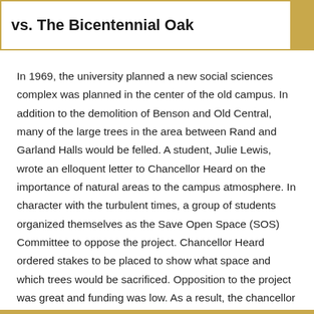vs. The Bicentennial Oak
In 1969, the university planned a new social sciences complex was planned in the center of the old campus. In addition to the demolition of Benson and Old Central, many of the large trees in the area between Rand and Garland Halls would be felled. A student, Julie Lewis, wrote an elloquent letter to Chancellor Heard on the importance of natural areas to the campus atmosphere. In character with the turbulent times, a group of students organized themselves as the Save Open Space (SOS) Committee to oppose the project. Chancellor Heard ordered stakes to be placed to show what space and which trees would be sacrificed. Opposition to the project was great and funding was low. As a result, the chancellor cancelled the project.²³²⁴